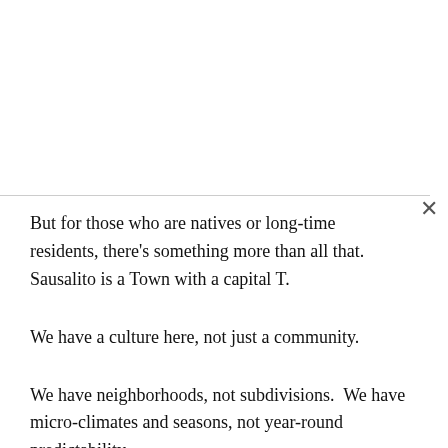But for those who are natives or long-time residents, there’s something more than all that.  Sausalito is a Town with a capital T.
We have a culture here, not just a community.
We have neighborhoods, not subdivisions.  We have micro-climates and seasons, not year-round predictability.
Like the artists who live here, we have the ability to look at things in a great variety of ways, and we’re not a fixed camera anchored